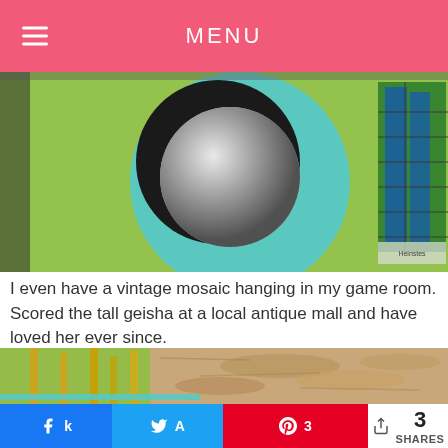MENU
[Figure (photo): Interior room photo showing a circular teal/blue mirror with a chrome ball, green wall, and a mosaic artwork on the right side]
I even have a vintage mosaic hanging in my game room. Scored the tall geisha at a local antique mall and have loved her ever since.
[Figure (photo): Interior game room photo showing trophies on a light blue shelf against a stone/rock wall background with green wall visible on the left]
Share buttons: Facebook, Twitter, Pinterest (3), 3 SHARES